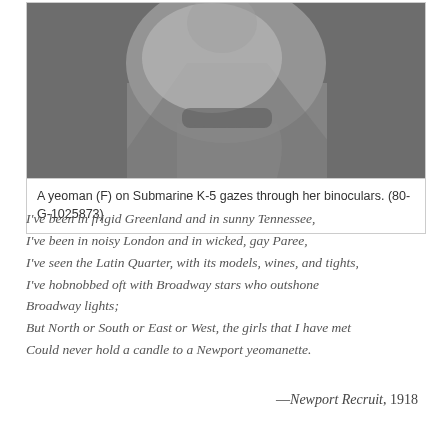[Figure (photo): Black and white photograph of a yeoman (F) on Submarine K-5 gazing through binoculars]
A yeoman (F) on Submarine K-5 gazes through her binoculars. (80-G-1025873)
I've been in frigid Greenland and in sunny Tennessee,
I've been in noisy London and in wicked, gay Paree,
I've seen the Latin Quarter, with its models, wines, and tights,
I've hobnobbed oft with Broadway stars who outshone Broadway lights;
But North or South or East or West, the girls that I have met
Could never hold a candle to a Newport yeomanette.
—Newport Recruit, 1918